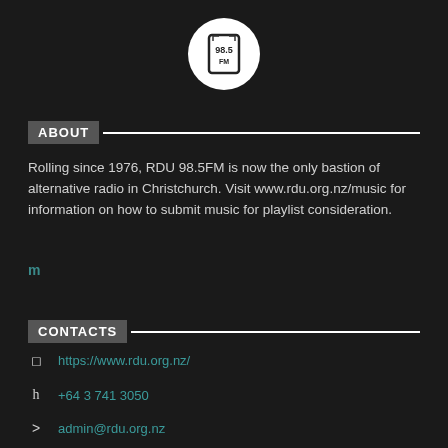[Figure (logo): RDU 98.5FM circular logo with stylized radio/music graphic on white circle background]
ABOUT
Rolling since 1976, RDU 98.5FM is now the only bastion of alternative radio in Christchurch. Visit www.rdu.org.nz/music for information on how to submit music for playlist consideration.
m
CONTACTS
https://www.rdu.org.nz/
+64 3 741 3050
admin@rdu.org.nz